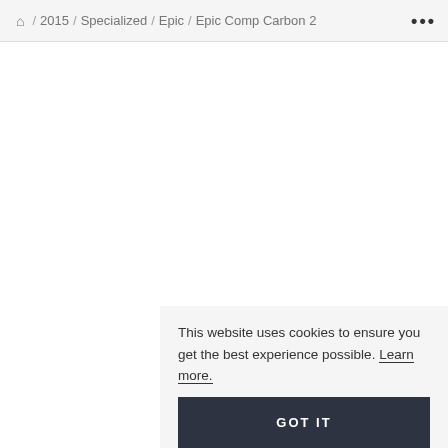🏠 / 2015 / Specialized / Epic / Epic Comp Carbon 2 •••
This website uses cookies to ensure you get the best experience possible. Learn more.
GOT IT